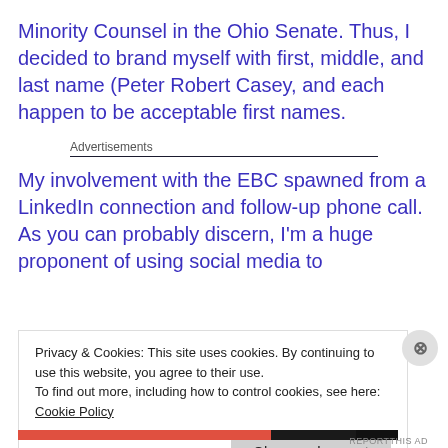Minority Counsel in the Ohio Senate. Thus, I decided to brand myself with first, middle, and last name (Peter Robert Casey, and each happen to be acceptable first names.
Advertisements
My involvement with the EBC spawned from a LinkedIn connection and follow-up phone call. As you can probably discern, I'm a huge proponent of using social media to
Privacy & Cookies: This site uses cookies. By continuing to use this website, you agree to their use.
To find out more, including how to control cookies, see here: Cookie Policy
Close and accept